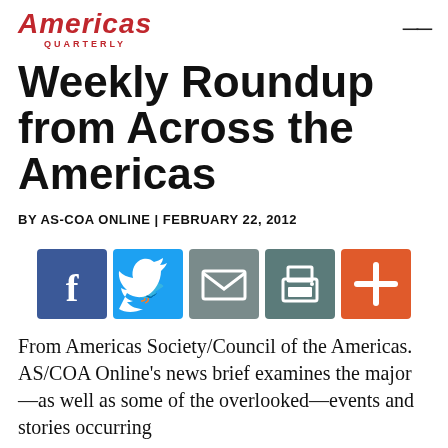Americas Quarterly
Weekly Roundup from Across the Americas
BY AS-COA ONLINE | FEBRUARY 22, 2012
[Figure (infographic): Social sharing buttons: Facebook (blue), Twitter (blue), Email (grey), Print (grey-teal), Add/Plus (orange-red)]
From Americas Society/Council of the Americas. AS/COA Online's news brief examines the major—as well as some of the overlooked—events and stories occurring